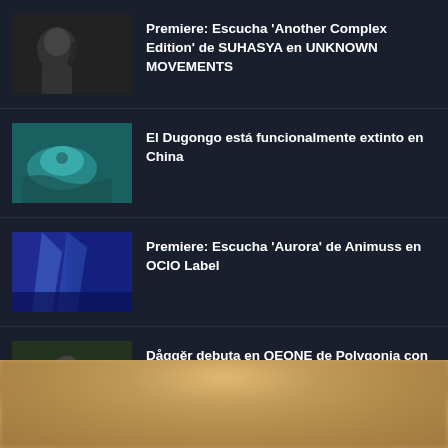Premiere: Escucha 'Another Complex Edition' de SUHASYA en UNKNOWN MOVEMENTS
El Dugongo está funcionalmente extinto en China
Premiere: Escucha 'Aurora' de Animuss en OCIO Label
Dåggěr debuta en QEONE de Polygonia con Dawn Chorus EP
[Figure (photo): Blurred warm-toned image at the bottom of the page, appears to be a close-up of a person or object with golden/amber tones]